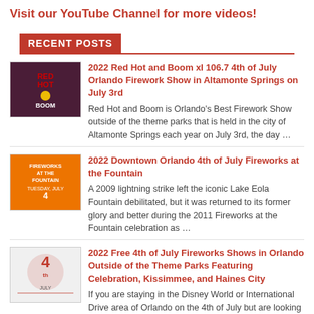Visit our YouTube Channel for more videos!
RECENT POSTS
2022 Red Hot and Boom xl 106.7 4th of July Orlando Firework Show in Altamonte Springs on July 3rd
Red Hot and Boom is Orlando's Best Firework Show outside of the theme parks that is held in the city of Altamonte Springs each year on July 3rd, the day …
2022 Downtown Orlando 4th of July Fireworks at the Fountain
A 2009 lightning strike left the iconic Lake Eola Fountain debilitated, but it was returned to its former glory and better during the 2011 Fireworks at the Fountain celebration as …
2022 Free 4th of July Fireworks Shows in Orlando Outside of the Theme Parks Featuring Celebration, Kissimmee, and Haines City
If you are staying in the Disney World or International Drive area of Orlando on the 4th of July but are looking for a free fireworks show to attend outside…